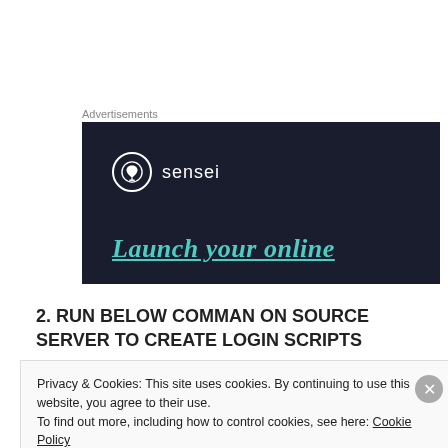Advertisements
[Figure (screenshot): Sensei advertisement banner with dark navy background showing the Sensei logo (tree icon in circle) with 'sensei' text and tagline 'Launch your online' in teal italic font]
2. RUN BELOW COMMAN ON SOURCE SERVER TO CREATE LOGIN SCRIPTS
EXEC sp_help_revlogin
Privacy & Cookies: This site uses cookies. By continuing to use this website, you agree to their use.
To find out more, including how to control cookies, see here: Cookie Policy
Close and accept